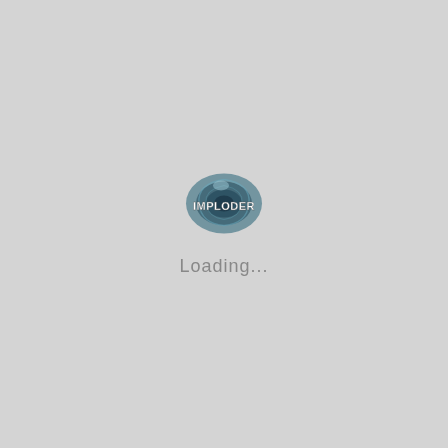[Figure (logo): IMPLODER logo with a dark blue-green spiral/swirl graphic above the text 'IMPLODER' in white bold letters, followed by 'Loading...' in gray below]